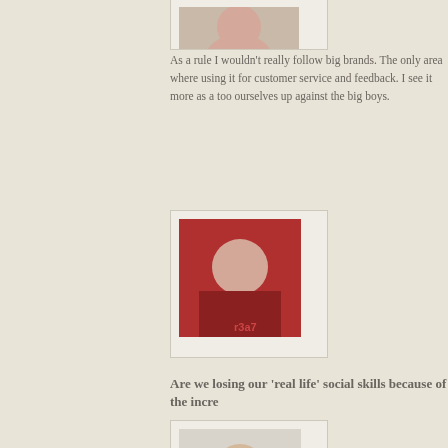[Figure (photo): Small avatar photo of a person, partially cropped at top of page]
As a rule I wouldn't really follow big brands. The only area where using it for customer service and feedback. I see it more as a too ourselves up against the big boys.
[Figure (photo): Avatar photo of a person with red background, square format]
Are we losing our 'real life' social skills because of the incre
[Figure (photo): Avatar photo of a man in white chef's jacket]
Not at all in fact I think it is the opposite in that I have met 100s o meet ups that I would never have normally met. I think it is super odd time and take a day off though.
[Figure (photo): Avatar photo of a person with red background, square format]
How do you decide who to follow?